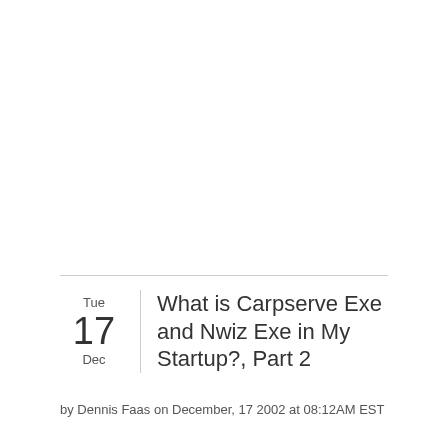What is Carpserve Exe and Nwiz Exe in My Startup?, Part 2
by Dennis Faas on December, 17 2002 at 08:12AM EST